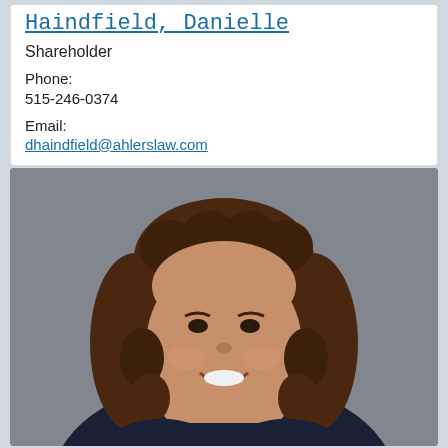Haindfield, Danielle
Shareholder
Phone:
515-246-0374
Email:
dhaindfield@ahlerslaw.com
[Figure (photo): Professional headshot of Danielle Haindfield, a woman with curly brown hair, smiling, wearing dark clothing, against a gray background.]